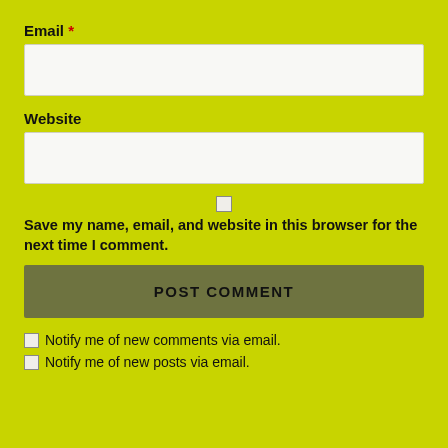Email *
[Figure (screenshot): Empty text input box for Email field]
Website
[Figure (screenshot): Empty text input box for Website field]
Save my name, email, and website in this browser for the next time I comment.
POST COMMENT
Notify me of new comments via email.
Notify me of new posts via email.